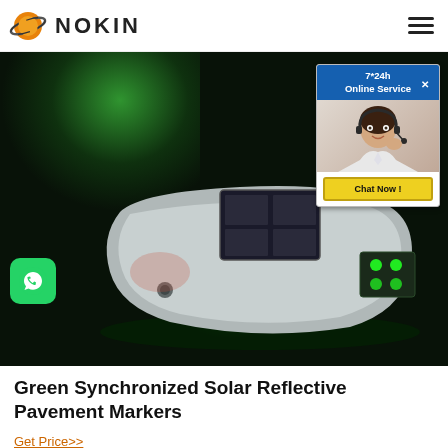NOKIN
[Figure (photo): Solar reflective pavement marker with green LED lights glowing on a dark surface, silver aluminum housing with solar panel on top. A chat widget overlay shows '7*24h Online Service' with a customer service representative photo and 'Chat Now!' button.]
Green Synchronized Solar Reflective Pavement Markers
Get Price>>